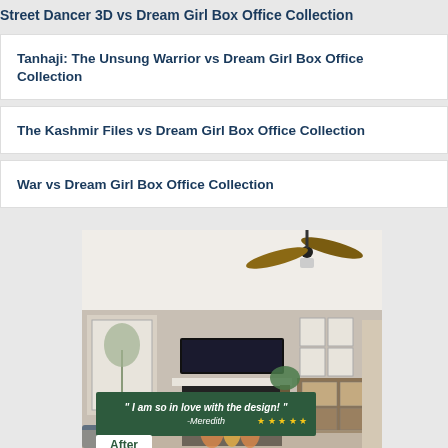Street Dancer 3D vs Dream Girl Box Office Collection
Tanhaji: The Unsung Warrior vs Dream Girl Box Office Collection
The Kashmir Files vs Dream Girl Box Office Collection
War vs Dream Girl Box Office Collection
[Figure (photo): Interior room photo showing a modern living room with a ceiling fan, wall-mounted TV above a fireplace, framed art, and a credenza. An overlay banner reads: '" I am so in love with the design! " -Meredith' with star ratings. An 'After' badge is in the lower left corner.]